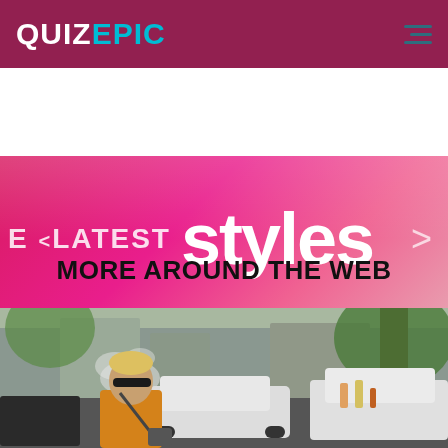QUIZ EPIC
[Figure (illustration): Pink gradient banner with text 'E < LATEST styles >' in white on a hot pink/magenta gradient background with a chevron arrow on the right side]
MORE AROUND THE WEB
[Figure (photo): Street-level photo of a man with blonde hair, sunglasses, and an orange shirt with a crossbody bag, exhaling vapor/smoke, with cars and trees in the background]